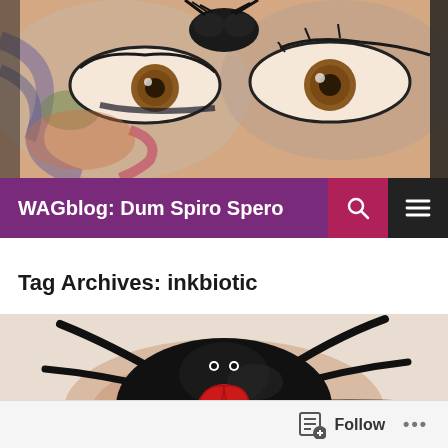[Figure (photo): Close-up painted artwork of a face showing two eyes with dramatic makeup, black beetle/insect on forehead, colorful swirling background]
WAGblog: Dum Spiro Spero
Tag Archives: inkbiotic
[Figure (photo): Painting of a large black spider with red biohazard symbol on its back, sitting on a light-colored surface]
Follow ...